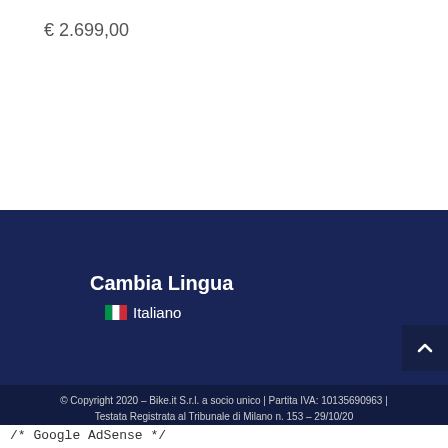€ 2.699,00
Cambia Lingua
🇮🇹 Italiano
© Copyright 2020 – Bike.it S.r.l. a socio unico | Partita IVA: 10135690963 | Testata Registrata al Tribunale di Milano n. 153 – 29/10/20
/* Google AdSense */